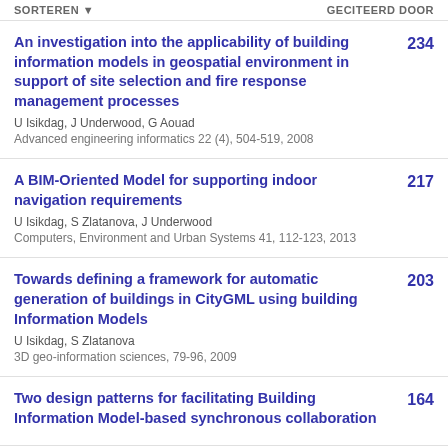SORTEREN   GECITEERD DOOR
An investigation into the applicability of building information models in geospatial environment in support of site selection and fire response management processes — U Isikdag, J Underwood, G Aouad — Advanced engineering informatics 22 (4), 504-519, 2008 — 234
A BIM-Oriented Model for supporting indoor navigation requirements — U Isikdag, S Zlatanova, J Underwood — Computers, Environment and Urban Systems 41, 112-123, 2013 — 217
Towards defining a framework for automatic generation of buildings in CityGML using building Information Models — U Isikdag, S Zlatanova — 3D geo-information sciences, 79-96, 2009 — 203
Two design patterns for facilitating Building Information Model-based synchronous collaboration — 164